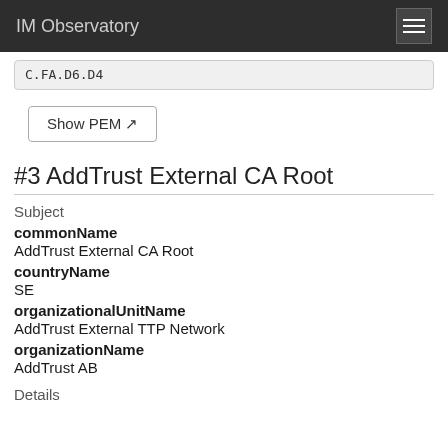IM Observatory
C.FA.D6.D4
Show PEM
#3 AddTrust External CA Root
Subject
commonName
AddTrust External CA Root
countryName
SE
organizationalUnitName
AddTrust External TTP Network
organizationName
AddTrust AB
Details